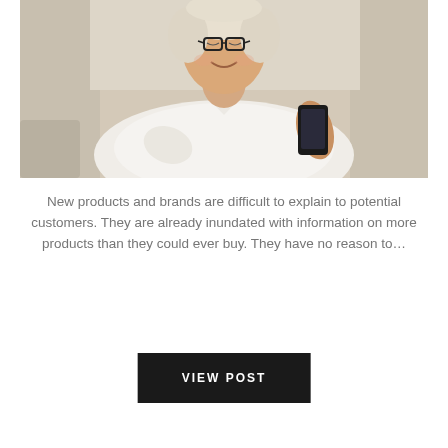[Figure (photo): A smiling middle-aged woman with short blonde hair and glasses, wearing a white shirt, looking at a smartphone she holds in her hands. The background is a blurred light-colored room.]
New products and brands are difficult to explain to potential customers. They are already inundated with information on more products than they could ever buy. They have no reason to...
VIEW POST